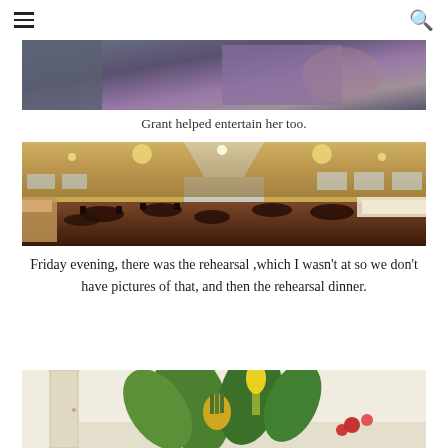Navigation menu and search icon
[Figure (photo): Partial photo showing people in a car or indoor setting, person wearing purple floral top visible]
Grant helped entertain her too.
[Figure (photo): Panoramic wide-angle photo of a large banquet hall with round tables, chairs, dark carpet, vaulted ceiling with skylights and chandeliers, buffet tables along the sides]
Friday evening, there was the rehearsal ,which I wasn't at so we don't have pictures of that, and then the rehearsal dinner.
[Figure (photo): Photo of a tropical floral centerpiece arrangement with pineapple and large green leaves, partially visible]